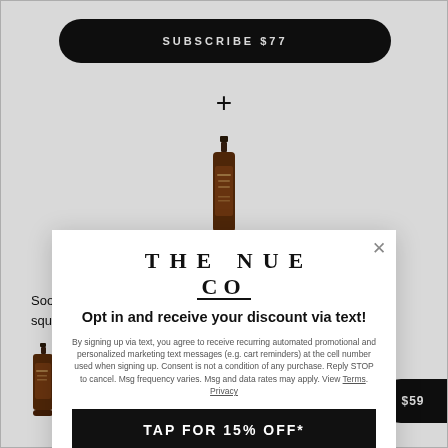SUBSCRIBE $77
+
[Figure (photo): Brown pump bottle product]
Soo... and squ...
[Figure (photo): Brown pump bottle product small]
$59
[Figure (logo): The Nue Co logo]
Opt in and receive your discount via text!
By signing up via text, you agree to receive recurring automated promotional and personalized marketing text messages (e.g. cart reminders) at the cell number used when signing up. Consent is not a condition of any purchase. Reply STOP to cancel. Msg frequency varies. Msg and data rates may apply. View Terms. Privacy
TAP FOR 15% OFF*